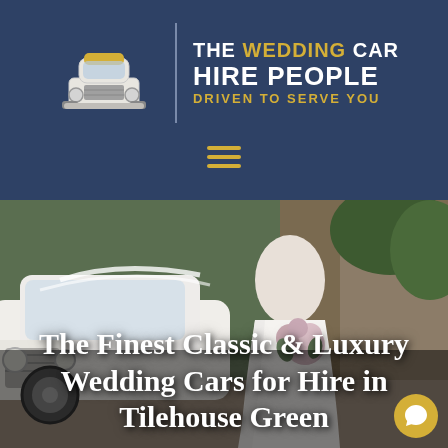[Figure (logo): The Wedding Car Hire People logo with vintage car icon and tagline 'Driven To Serve You' on dark navy background]
[Figure (photo): A bride in a white wedding dress holding a bouquet of flowers, standing beside a classic white vintage wedding car, outdoors near a stone building]
The Finest Classic & Luxury Wedding Cars for Hire in Tilehouse Green